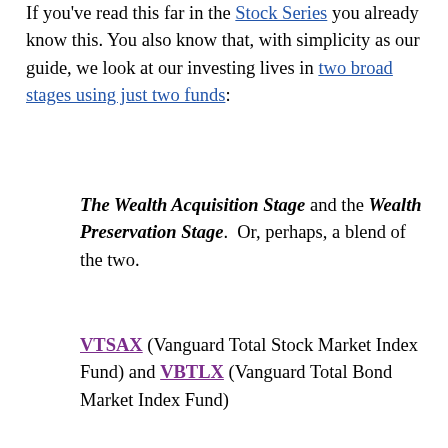If you've read this far in the Stock Series you already know this. You also know that, with simplicity as our guide, we look at our investing lives in two broad stages using just two funds:
The Wealth Acquisition Stage and the Wealth Preservation Stage. Or, perhaps, a blend of the two.
VTSAX (Vanguard Total Stock Market Index Fund) and VBTLX (Vanguard Total Bond Market Index Fund)
The wealth acquisition stage is when you are working and have earned income to save and invest. For this stage I favor 100% stocks and VTSAX is the fund I prefer. If financial independence is your goal, your savings rate in these years should be high. As you invest